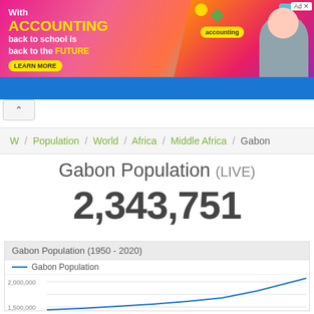[Figure (photo): Advertisement banner for accounting courses with colorful background and person wearing headphones]
W / Population / World / Africa / Middle Africa / Gabon
Gabon Population (LIVE)
2,343,751
[Figure (line-chart): Gabon Population (1950 - 2020)]